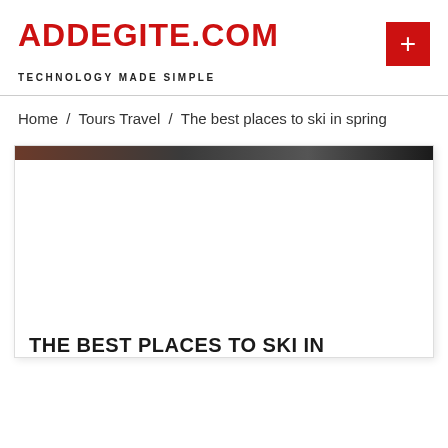ADDEGITE.COM
TECHNOLOGY MADE SIMPLE
Home / Tours Travel / The best places to ski in spring
[Figure (photo): Article card with a dark gradient image strip at top, blank white area below, and partial article title at bottom]
THE BEST PLACES TO SKI IN